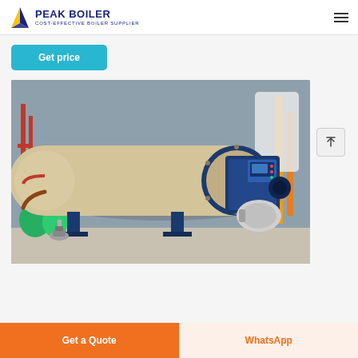PEAK BOILER - COST-EFFECTIVE BOILER SUPPLIER
Get price
[Figure (photo): Industrial fire-tube steam boiler with blue casing and burner assembly, installed in a factory setting. The large cylindrical tan/beige boiler body is mounted on blue steel legs, with a blue front burner/combustion chamber fitted with a motor and control panel showing indicator lights.]
Get a Quote
WhatsApp